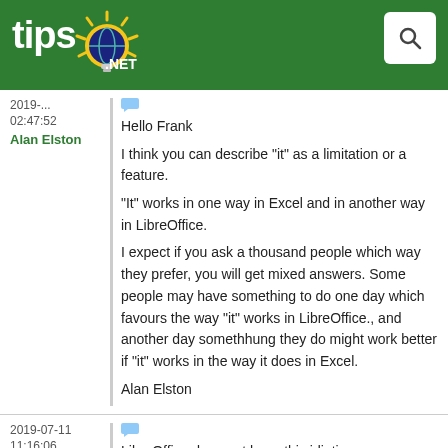[Figure (logo): tips.net logo with sun graphic on green header bar]
2019-... 02:47:52
Alan Elston
Hello Frank
I think you can describe "it" as a limitation or a feature.
"It" works in one way in Excel and in another way in LibreOffice.
I expect if you ask a thousand people which way they prefer, you will get mixed answers. Some people may have something to do one day which favours the way "it" works in LibreOffice., and another day somethhung they do might work better if "it" works in the way it does in Excel.
Alan Elston
2019-07-11 11:16:06
LibreOffice does not have this idiotic